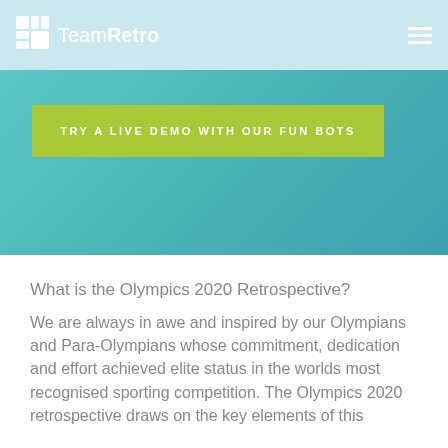TeamRetro
TRY A LIVE DEMO WITH OUR FUN BOTS
What is the Olympics 2020 Retrospective?
We are always in awe and inspired by our Olympians and Para-Olympians whose commitment, dedication and effort achieved elite status in the worlds most recognised sporting competition. The Olympics 2020 retrospective draws on the key elements of this